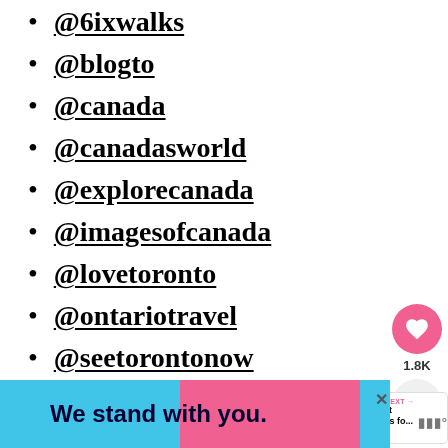@6ixwalks
@blogto
@canada
@canadasworld
@explorecanada
@imagesofcanada
@lovetoronto
@ontariotravel
@seetorontonow
[Figure (infographic): Social share sidebar with heart button (1.8K likes) and share button]
[Figure (infographic): What's Next panel: The Best Hashtags fo... with thumbnail image]
[Figure (infographic): Ad banner: We stand with you. with blue and pink background, close button]